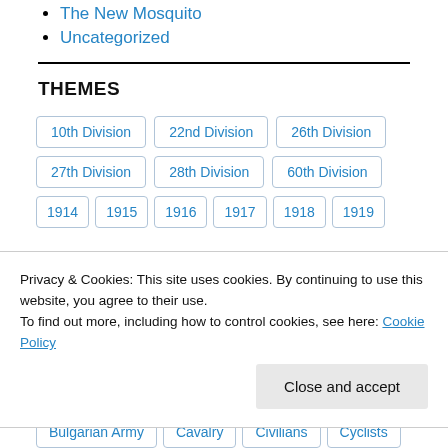The New Mosquito
Uncategorized
THEMES
10th Division
22nd Division
26th Division
27th Division
28th Division
60th Division
1914
1915
1916
1917
1918
1919
Privacy & Cookies: This site uses cookies. By continuing to use this website, you agree to their use.
To find out more, including how to control cookies, see here: Cookie Policy
Bulgarian Army
Cavalry
Civilians
Cyclists